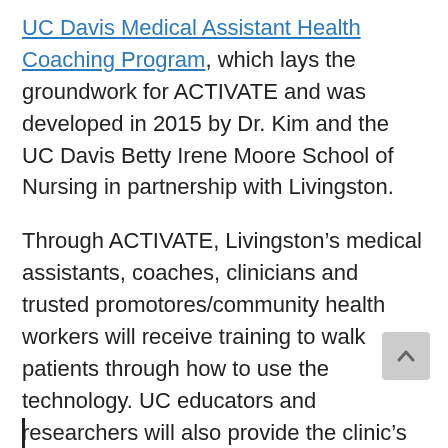UC Davis Medical Assistant Health Coaching Program, which lays the groundwork for ACTIVATE and was developed in 2015 by Dr. Kim and the UC Davis Betty Irene Moore School of Nursing in partnership with Livingston.
Through ACTIVATE, Livingston's medical assistants, coaches, clinicians and trusted promotores/community health workers will receive training to walk patients through how to use the technology. UC educators and researchers will also provide the clinic's care teams with digital skills-building materials proven to be popular and effective with patients (e.g., animated videos).